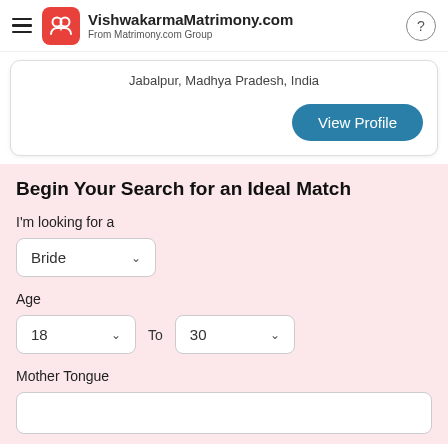VishwakarmaMatrimony.com
From Matrimony.com Group
Jabalpur, Madhya Pradesh, India
View Profile
Begin Your Search for an Ideal Match
I'm looking for a
Bride
Age
18
To
30
Mother Tongue